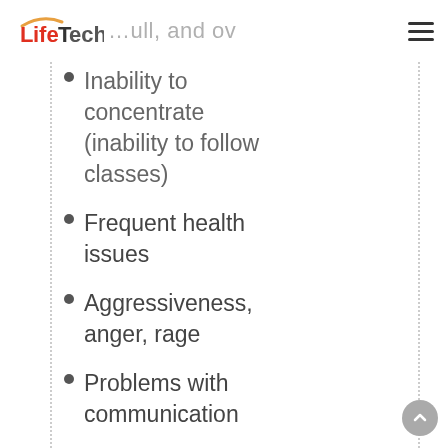LifeTech
inability to concentrate (inability to follow classes)
Frequent health issues
Aggressiveness, anger, rage
Problems with communication
Fear, indecisiveness